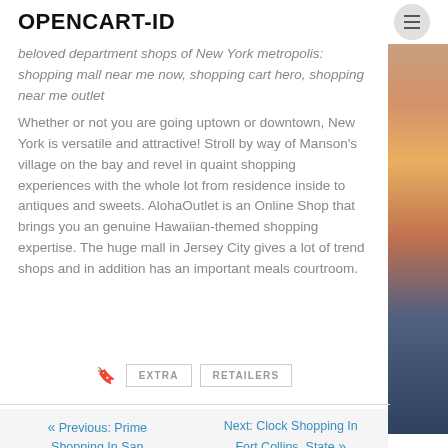OPENCART-ID
beloved department shops of New York metropolis: shopping mall near me now, shopping cart hero, shopping near me outlet
Whether or not you are going uptown or downtown, New York is versatile and attractive! Stroll by way of Manson's village on the bay and revel in quaint shopping experiences with the whole lot from residence inside to antiques and sweets. AlohaOutlet is an Online Shop that brings you an genuine Hawaiian-themed shopping expertise. The huge mall in Jersey City gives a lot of trend shops and in addition has an important meals courtroom.
EXTRA  RETAILERS
« Previous: Prime Shopping In San Francisco
Next: Clock Shopping In Fort Collins, State »